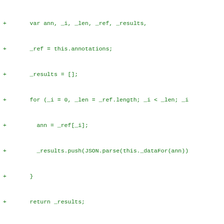Code diff showing JavaScript functions: _apiRequest, _apiRequestOptions with green + lines